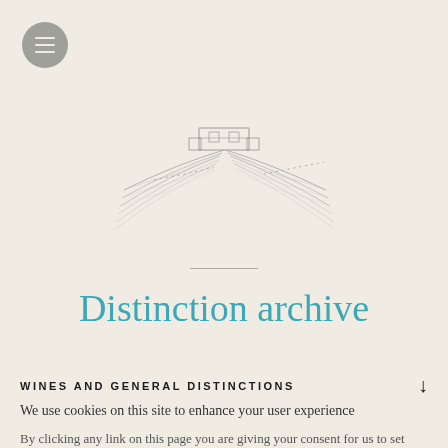[Figure (illustration): Menu button: circular gray button with three horizontal white lines (hamburger icon), positioned top-left]
[Figure (illustration): Sketch-style illustration of a vineyard with rows of vines leading to a winery building in the background, drawn in gray pencil/ink style on a cream background]
Distinction archive
WINES AND GENERAL DISTINCTIONS
We use cookies on this site to enhance your user experience
By clicking any link on this page you are giving your consent for us to set